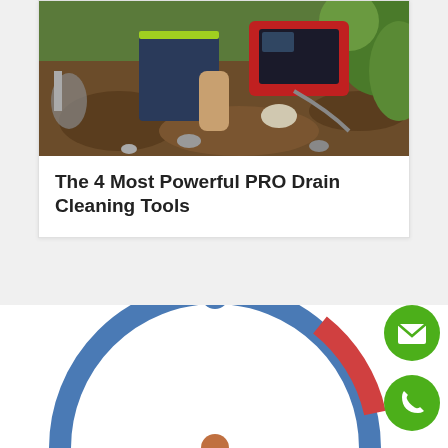[Figure (photo): A worker kneeling outdoors in soil, using a red drain camera/inspection device with cables, surrounded by greenery.]
The 4 Most Powerful PRO Drain Cleaning Tools
[Figure (donut-chart): Partial donut chart visible at bottom of page, with a blue arc and a red arc segment, partially cut off.]
[Figure (other): Green circle button with white envelope/email icon.]
[Figure (other): Green circle button with white phone/call icon.]